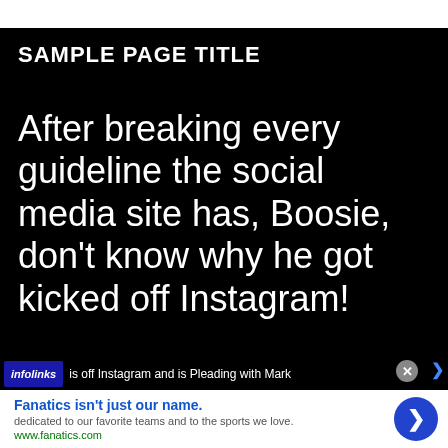SAMPLE PAGE TITLE
After breaking every guideline the social media site has, Boosie, don't know why he got kicked off Instagram!
is off Instagram and is Pleading with Mark
Fanatics isn't just our name.
dedicated to our favorite teams and to the sports we love.
www.fanatics.com